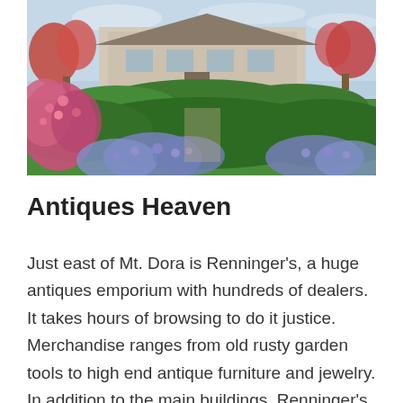[Figure (photo): Outdoor garden scene with lush green shrubs, pink and blue flowering plants in the foreground, and a large house or building visible in the background under a partly cloudy sky.]
Antiques Heaven
Just east of Mt. Dora is Renninger's, a huge antiques emporium with hundreds of dealers. It takes hours of browsing to do it justice. Merchandise ranges from old rusty garden tools to high end antique furniture and jewelry. In addition to the main buildings, Renninger's hosts flea markets several times a year and people